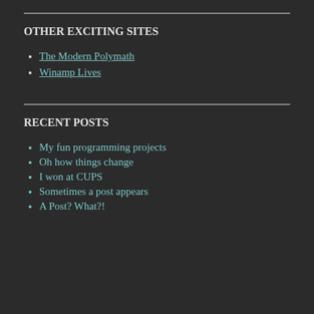OTHER EXCITING SITES
The Modern Polymath
Winamp Lives
RECENT POSTS
My fun programming projects
Oh how things change
I won at CUPS
Sometimes a post appears
A Post? What?!